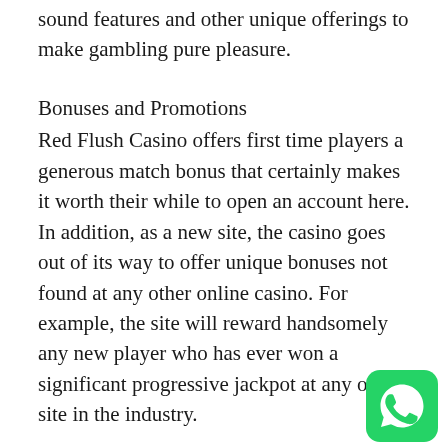sound features and other unique offerings to make gambling pure pleasure.
Bonuses and Promotions
Red Flush Casino offers first time players a generous match bonus that certainly makes it worth their while to open an account here. In addition, as a new site, the casino goes out of its way to offer unique bonuses not found at any other online casino. For example, the site will reward handsomely any new player who has ever won a significant progressive jackpot at any other site in the industry.
Players start to earn Red Rewards from their first bet and automatically become members of
[Figure (logo): WhatsApp logo icon — green rounded square with white phone handset symbol]